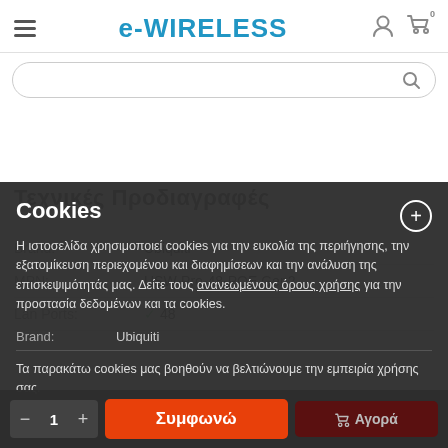e-WIRELESS
Cookies
Η ιστοσελίδα χρησιμοποιεί cookies για την ευκολία της περιήγησης, την εξατομίκευση περιεχομένου και διαφημίσεων και την ανάλυση της επισκεψιμότητάς μας. Δείτε τους ανανεωμένους όρους χρήσης για την προστασία δεδομένων και τα cookies.
| Brand: | MPN: | Lan Ports: |
| --- | --- | --- |
| Ubiquiti |
| USW-Pro-48-POE Gen2 |
| ✓ 48 |
Τα παρακάτω cookies μας βοηθούν να βελτιώνουμε την εμπειρία χρήσης σας.
CS-Cart cookies
Συμφωνώ
Αγορά